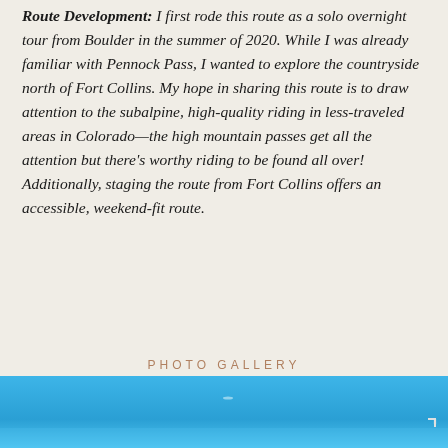Route Development: I first rode this route as a solo overnight tour from Boulder in the summer of 2020. While I was already familiar with Pennock Pass, I wanted to explore the countryside north of Fort Collins. My hope in sharing this route is to draw attention to the subalpine, high-quality riding in less-traveled areas in Colorado—the high mountain passes get all the attention but there's worthy riding to be found all over! Additionally, staging the route from Fort Collins offers an accessible, weekend-fit route.
PHOTO GALLERY
[Figure (photo): A blue sky photograph, partial view of a landscape scene, shown as a horizontal strip at the bottom of the page.]